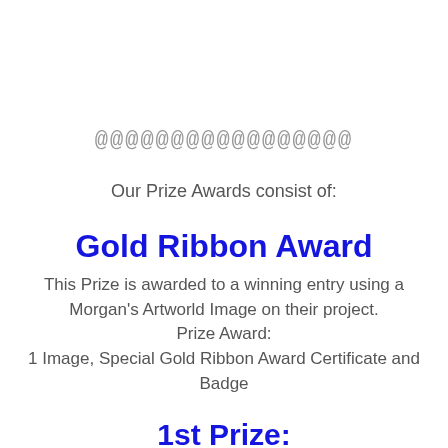@@@@@@@@@@@@@@@@@
Our Prize Awards consist of:
Gold Ribbon Award
This Prize is awarded to a winning entry using a Morgan's Artworld Image on their project. Prize Award: 1 Image, Special Gold Ribbon Award Certificate and Badge
1st Prize: